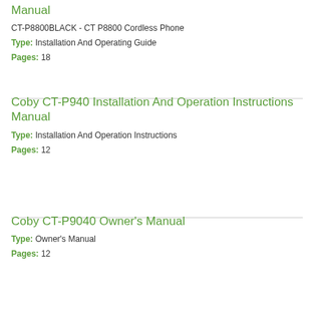Manual
CT-P8800BLACK - CT P8800 Cordless Phone
Type: Installation And Operating Guide
Pages: 18
Coby CT-P940 Installation And Operation Instructions Manual
Type: Installation And Operation Instructions
Pages: 12
Coby CT-P9040 Owner's Manual
Type: Owner's Manual
Pages: 12